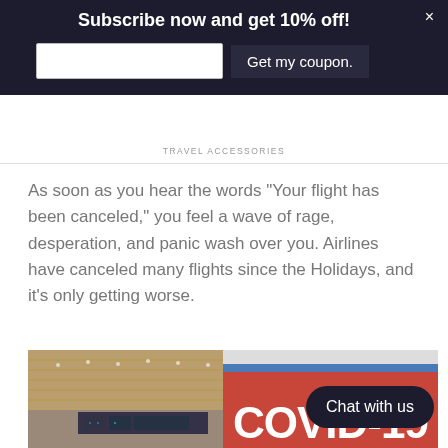Subscribe now and get 10% off!
Get my coupon.
TRAVEL ACCESSORIES
As soon as you hear the words "Your flight has been canceled," you feel a wave of rage, desperation, and panic wash over you. Airlines have canceled many flights since the Holidays, and it's only getting worse.
[Figure (photo): Airport terminal with travelers pulling luggage on the left side, and a red COVID-19 Testing sign partially visible on the right side. A 'Chat with us' button overlay appears in the bottom right.]